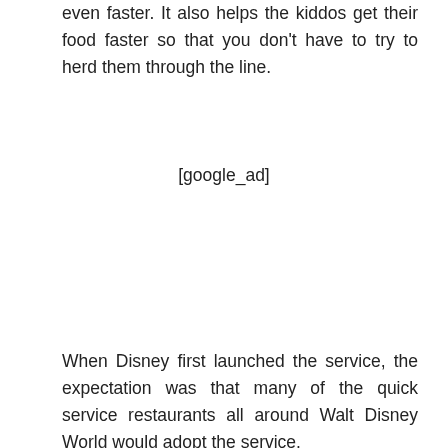even faster. It also helps the kiddos get their food faster so that you don't have to try to herd them through the line.
[google_ad]
When Disney first launched the service, the expectation was that many of the quick service restaurants all around Walt Disney World would adopt the service.